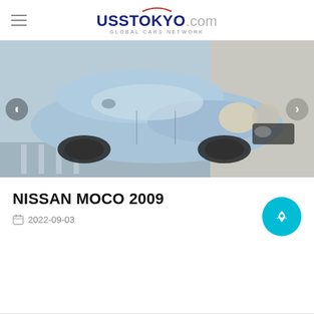UssTokyo.com — Global Cars Network
[Figure (photo): Light blue Nissan Moco 2009 compact car photographed at a Japanese auto auction, front three-quarter view]
NISSAN MOCO 2009
2022-09-03